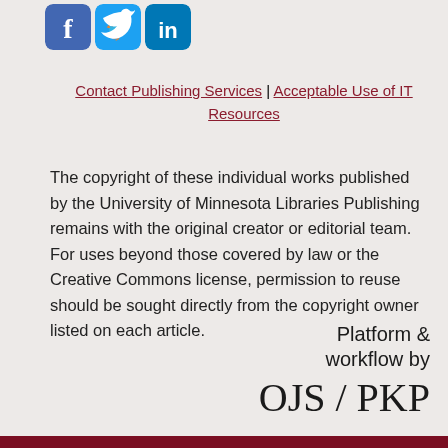[Figure (logo): Social media icons: Facebook, Twitter, LinkedIn]
Contact Publishing Services | Acceptable Use of IT Resources
The copyright of these individual works published by the University of Minnesota Libraries Publishing remains with the original creator or editorial team. For uses beyond those covered by law or the Creative Commons license, permission to reuse should be sought directly from the copyright owner listed on each article.
[Figure (logo): OJS/PKP logo with text: Platform & workflow by OJS/PKP]